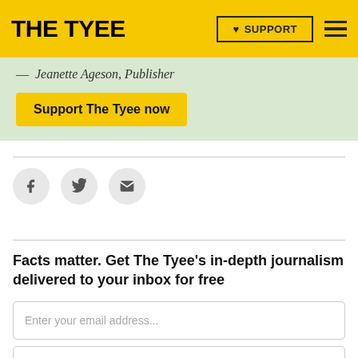THE TYEE
— Jeanette Ageson, Publisher
Support The Tyee now
[Figure (infographic): Social share icons: Facebook, Twitter, Email in grey circles]
Facts matter. Get The Tyee's in-depth journalism delivered to your inbox for free
Enter your email address...
Daily
Subscribe now